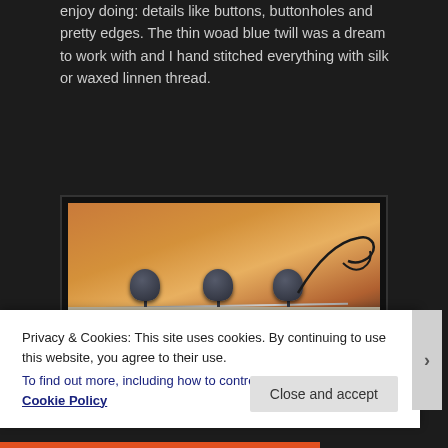enjoy doing: details like buttons, buttonholes and pretty edges. The thin woad blue twill was a dream to work with and I hand stitched everything with silk or waxed linnen thread.
[Figure (photo): Close-up photo of three dark blue hand-stitched fabric-covered buttons on a light-colored fabric strip, with a needle and dark thread visible on the right side. The background is warm amber/orange toned, likely a wooden surface.]
Privacy & Cookies: This site uses cookies. By continuing to use this website, you agree to their use.
To find out more, including how to control cookies, see here: Cookie Policy